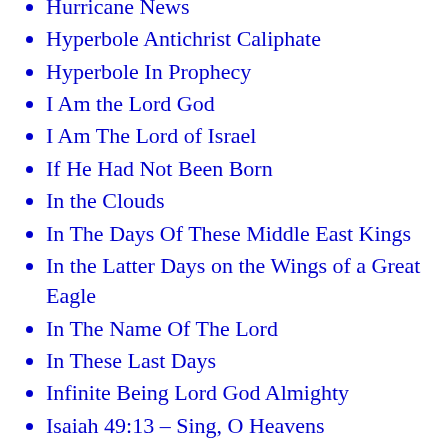Hurricane News
Hyperbole Antichrist Caliphate
Hyperbole In Prophecy
I Am the Lord God
I Am The Lord of Israel
If He Had Not Been Born
In the Clouds
In The Days Of These Middle East Kings
In the Latter Days on the Wings of a Great Eagle
In The Name Of The Lord
In These Last Days
Infinite Being Lord God Almighty
Isaiah 49:13 – Sing, O Heavens
Isaiah Chapter 66
Islam Cast Out This Bondwoman